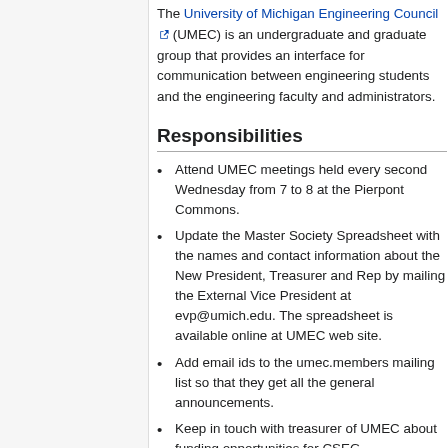The University of Michigan Engineering Council (UMEC) is an undergraduate and graduate group that provides an interface for communication between engineering students and the engineering faculty and administrators.
Responsibilities
Attend UMEC meetings held every second Wednesday from 7 to 8 at the Pierpont Commons.
Update the Master Society Spreadsheet with the names and contact information about the New President, Treasurer and Rep by mailing the External Vice President at evp@umich.edu. The spreadsheet is available online at UMEC web site.
Add email ids to the umec.members mailing list so that they get all the general announcements.
Keep in touch with treasurer of UMEC about funding opportunities for CSEG.